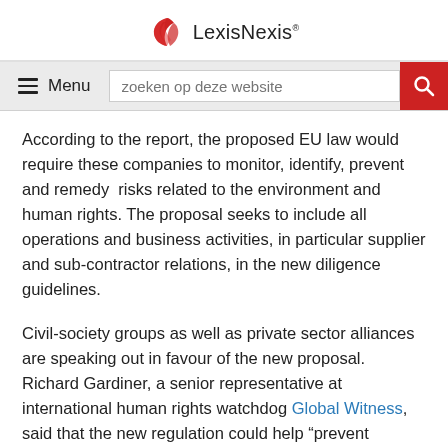LexisNexis
According to the report, the proposed EU law would require these companies to monitor, identify, prevent and remedy risks related to the environment and human rights. The proposal seeks to include all operations and business activities, in particular supplier and sub-contractor relations, in the new diligence guidelines.
Civil-society groups as well as private sector alliances are speaking out in favour of the new proposal. Richard Gardiner, a senior representative at international human rights watchdog Global Witness, said that the new regulation could help “prevent environmental and human rights abuses before they happen.”
Similarly, the Nordic Business Networking for Human